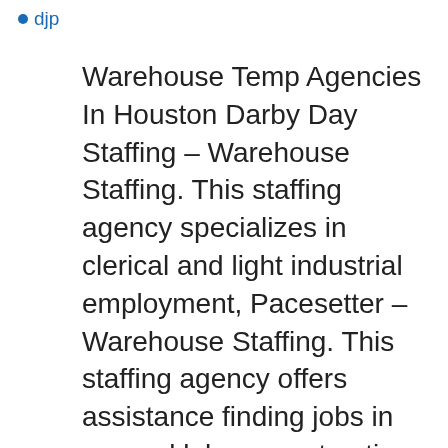djp
Warehouse Temp Agencies In Houston Darby Day Staffing – Warehouse Staffing. This staffing agency specializes in clerical and light industrial employment, Pacesetter – Warehouse Staffing. This staffing agency offers assistance finding jobs in general labor, construction, Staff Management – But employment agencies know how to navigate the recruitment, screening, and hiring of employees across a range of unique industries and niches. Putting your staffing needs in the hands of a Houston employment agency is a smart decision—and it allows you to focus on other pressing tasks. 2021-01-25 · Team1Medical provides Houston-based businesses and job candidates with expert recruitment and